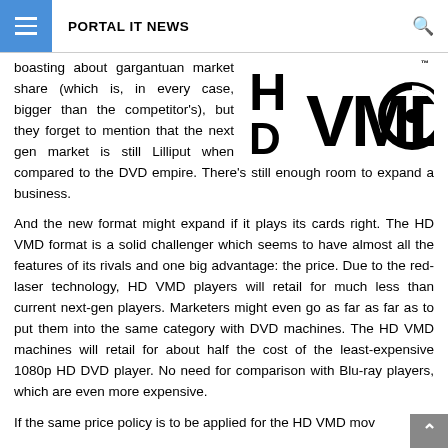PORTAL IT NEWS
boasting about gargantuan market share (which is, in every case, bigger than the competitor's), but they forget to mention that the next gen market is still Lilliput when compared to the DVD empire. There's still enough room to expand a business.
[Figure (logo): HD VMD logo — bold black letters 'HD' stacked vertically on the left with 'VMD' and a circular disc icon on the right, with TM superscript]
And the new format might expand if it plays its cards right. The HD VMD format is a solid challenger which seems to have almost all the features of its rivals and one big advantage: the price. Due to the red-laser technology, HD VMD players will retail for much less than current next-gen players. Marketers might even go as far as far as to put them into the same category with DVD machines. The HD VMD machines will retail for about half the cost of the least-expensive 1080p HD DVD player. No need for comparison with Blu-ray players, which are even more expensive.
If the same price policy is to be applied for the HD VMD mov...